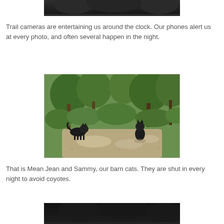[Figure (photo): Top portion of a night-vision trail camera photo (dark/black image), cropped at top of page]
Trail cameras are entertaining us around the clock. Our phones alert us at every photo, and often several happen in the night.
[Figure (photo): Outdoor daytime trail camera photo showing two dark cats (Mean Jean and Sammy, barn cats) on a dirt path surrounded by green shrubs and trees]
That is Mean Jean and Sammy, our barn cats. They are shut in every night to avoid coyotes.
[Figure (photo): Bottom portion of another night-vision trail camera photo (dark/black image), partially visible at bottom of page]